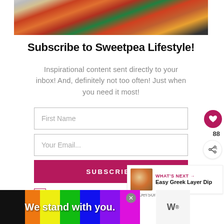[Figure (photo): Food photo at top of subscription card showing colorful dish with sauces]
Subscribe to Sweetpea Lifestyle!
Inspirational content sent directly to your inbox! And, definitely not too often! Just when you need it most!
First Name
Your Email...
SUBSCRIBE
I consent to receiving emails and personali...
[Figure (infographic): WHAT'S NEXT arrow label with Easy Greek Layer Dip food thumbnail]
[Figure (infographic): Ad banner: We stand with you. with rainbow stripes and close button]